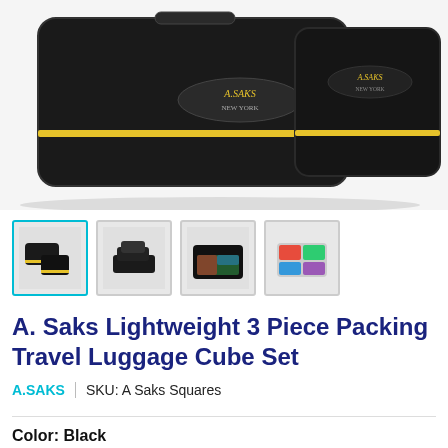[Figure (photo): Product photo of A. Saks black luggage packing cubes with yellow trim and A.Saks logo]
[Figure (photo): Four thumbnail images of the A. Saks packing cube set from different angles: closed view, stacked cubes, open/unzipped view, colorful interior view]
A. Saks Lightweight 3 Piece Packing Travel Luggage Cube Set
A.SAKS | SKU: A Saks Squares
Color: Black